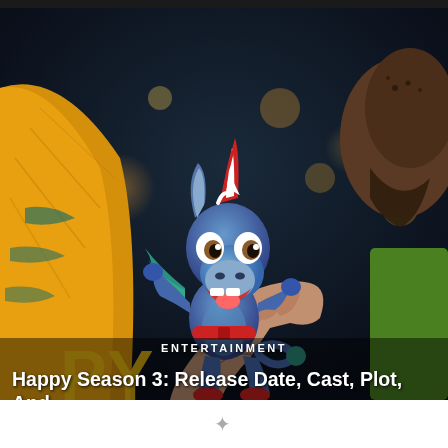[Figure (photo): Promotional image from the TV show Happy! showing a CGI animated blue unicorn character being held by a tattooed hand, with a man in a yellow sweater visible in the background and bokeh city lights. The animated character is blue with small wings, big expressive eyes, and a joyful expression.]
ENTERTAINMENT
Happy Season 3: Release Date, Cast, Plot, And